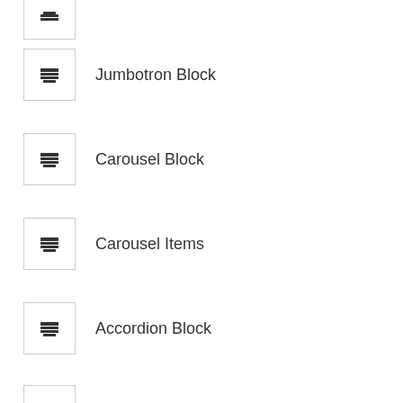(partial icon — top cropped)
Jumbotron Block
Carousel Block
Carousel Items
Accordion Block
Accordion items
CTA with 2 column image and text